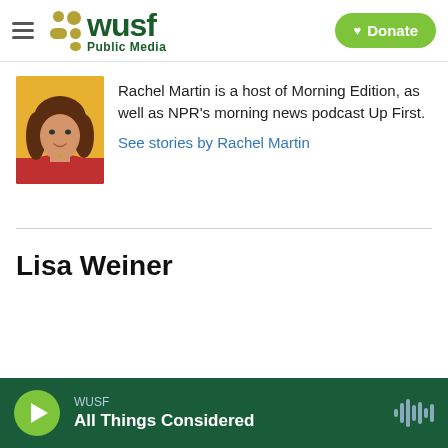WUSF Public Media — Donate
[Figure (photo): Photo of Rachel Martin, a woman with brown hair wearing a red top, against a yellow background]
Rachel Martin is a host of Morning Edition, as well as NPR's morning news podcast Up First.
See stories by Rachel Martin
Lisa Weiner
WUSF — All Things Considered